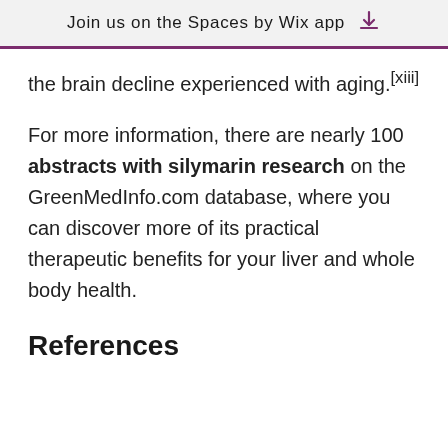Join us on the Spaces by Wix app
the brain decline experienced with aging.[xiii]
For more information, there are nearly 100 abstracts with silymarin research on the GreenMedInfo.com database, where you can discover more of its practical therapeutic benefits for your liver and whole body health.
References